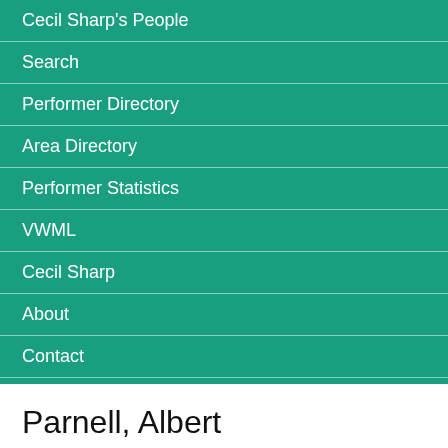Cecil Sharp's People
Search
Performer Directory
Area Directory
Performer Statistics
VWML
Cecil Sharp
About
Contact
Parnell, Albert
Singer